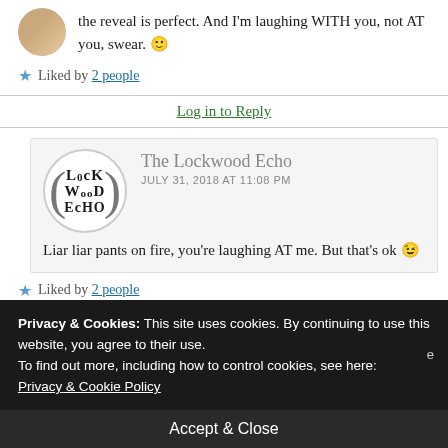the reveal is perfect. And I'm laughing WITH you, not AT you, swear. 🙂
★ Liked by 2 people
Log in to Reply
[Figure (logo): The Lockwood Echo circular logo with stylized text LOcK WooD EcHO inside a circle with parentheses]
The Lockwood Echo
JULY 31, 2018 AT 11:08 PM
Liar liar pants on fire, you're laughing AT me. But that's ok 😉
★ Liked by 2 people
Privacy & Cookies: This site uses cookies. By continuing to use this website, you agree to their use.
To find out more, including how to control cookies, see here: Privacy & Cookie Policy
Accept & Close